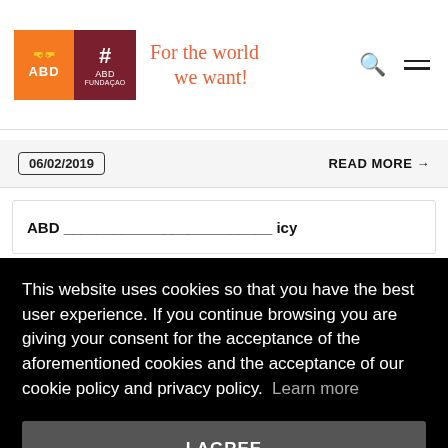ABD — For the world we want!
06/02/2019
READ MORE →
ABD — ...icy
This website uses cookies so that you have the best user experience. If you continue browsing you are giving your consent for the acceptance of the aforementioned cookies and the acceptance of our cookie policy and privacy policy.  Learn more
I AGREE